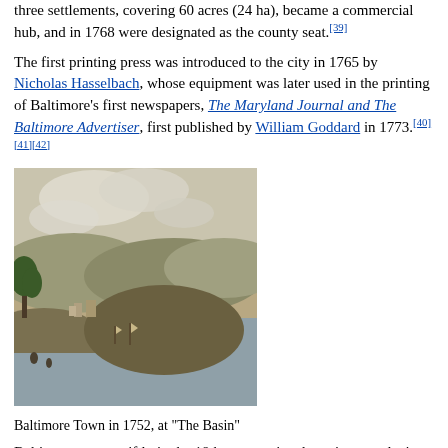three settlements, covering 60 acres (24 ha), became a commercial hub, and in 1768 were designated as the county seat.[39]
The first printing press was introduced to the city in 1765 by Nicholas Hasselbach, whose equipment was later used in the printing of Baltimore's first newspapers, The Maryland Journal and The Baltimore Advertiser, first published by William Goddard in 1773.[40][41][42]
[Figure (photo): Historical illustration of Baltimore Town in 1752, at 'The Basin', showing a landscape view with water, hills, trees, and ships]
Baltimore Town in 1752, at "The Basin"
Baltimore grew swiftly in the 18th century, its plantations producing grain and tobacco for sugar-producing colonies in the Caribbean. The profit from sugar encouraged the cultivation of cane in the Caribbean and the importation of food by planters there.[43] Since Baltimore was the county seat, a courthouse was built in 1768 to serve both the city and county. Its square was a center of community meetings and discussions.